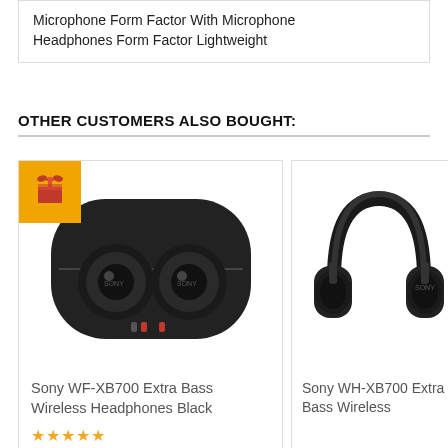Microphone Form Factor With Microphone Headphones Form Factor Lightweight
OTHER CUSTOMERS ALSO BOUGHT:
[Figure (photo): Sony WF-XB700 Extra Bass Wireless Earbuds in open charging case, black color, with orange gift badge in top-left corner]
Sony WF-XB700 Extra Bass Wireless Headphones Black
★★★★★
[Figure (photo): Sony WH-XB700 Extra Bass over-ear wireless headphones, black color]
Sony WH-XB700 Extra Bass Wireless